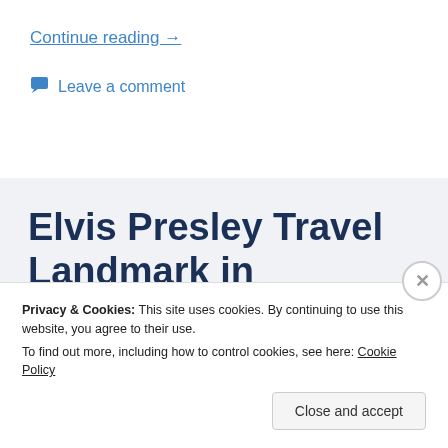Continue reading →
Leave a comment
Elvis Presley Travel Landmark in Memphis:
Privacy & Cookies: This site uses cookies. By continuing to use this website, you agree to their use.
To find out more, including how to control cookies, see here: Cookie Policy
Close and accept